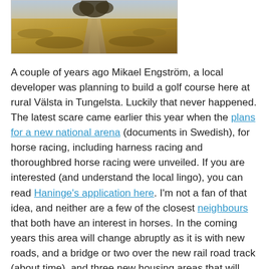[Figure (photo): A country road or dirt track through dry golden/brown grass fields, viewed from above or at an angle, partial view cropped at top of page.]
A couple of years ago Mikael Engström, a local developer was planning to build a golf course here at rural Välsta in Tungelsta. Luckily that never happened. The latest scare came earlier this year when the plans for a new national arena (documents in Swedish), for horse racing, including harness racing and thoroughbred horse racing were unveiled. If you are interested (and understand the local lingo), you can read Haninge's application here. I'm not a fan of that idea, and neither are a few of the closest neighbours that both have an interest in horses. In the coming years this area will change abruptly as it is with new roads, and a bridge or two over the new rail road track (about time), and three new housing areas that will make the area around Nedersta/Skarplöt and Lillgården a busy building site for the next fifteen years or so. OK, that's enough ranting for one day so I will leave you with another look at The Old Tree. This is my 194th photo of the Swedish Whitebeam.